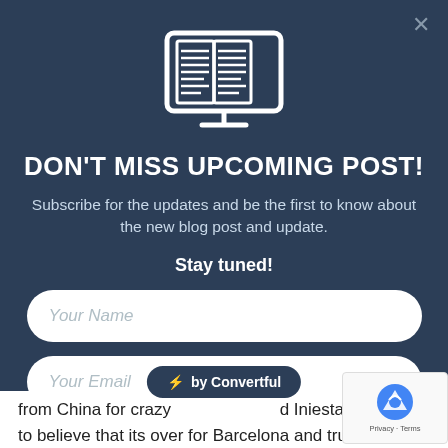[Figure (illustration): White line-art icon of an open book displayed on a computer monitor, on dark blue background]
DON'T MISS UPCOMING POST!
Subscribe for the updates and be the first to know about the new blog post and update.
Stay tuned!
Your Name
Your Email
Submit
from China for crazy d Iniesta not renewing their contracts late till November 2017, chang many doubts to believe that its over for Barcelona and trust
⚡ by Convertful